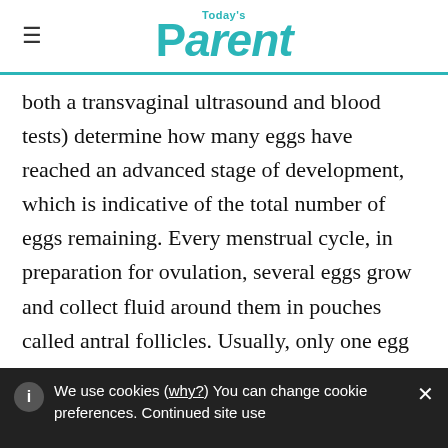Today's Parent
both a transvaginal ultrasound and blood tests) determine how many eggs have reached an advanced stage of development, which is indicative of the total number of eggs remaining. Every menstrual cycle, in preparation for ovulation, several eggs grow and collect fluid around them in pouches called antral follicles. Usually, only one egg matures enough to be released and the rest die (though in some cases, two eggs are
We use cookies (why?) You can change cookie preferences. Continued site use